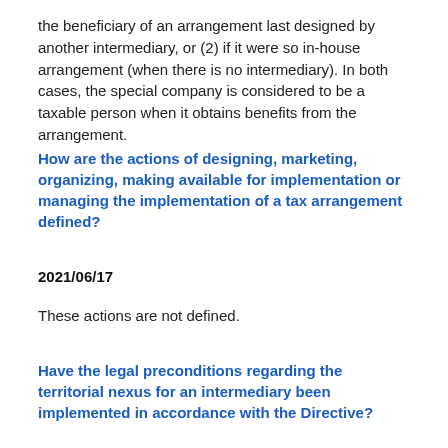the beneficiary of an arrangement last designed by another intermediary, or (2) if it were so in-house arrangement (when there is no intermediary). In both cases, the special company is considered to be a taxable person when it obtains benefits from the arrangement.
How are the actions of designing, marketing, organizing, making available for implementation or managing the implementation of a tax arrangement defined?
2021/06/17
These actions are not defined.
Have the legal preconditions regarding the territorial nexus for an intermediary been implemented in accordance with the Directive?